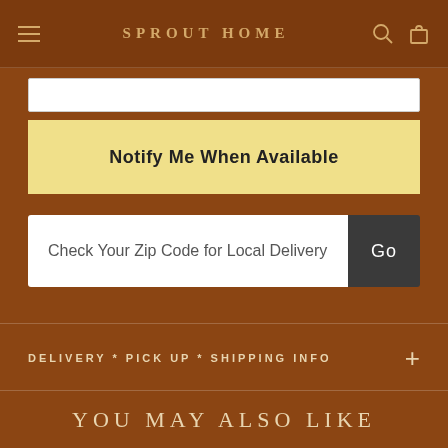SPROUT HOME
Notify Me When Available
Check Your Zip Code for Local Delivery
DELIVERY * PICK UP * SHIPPING INFO
YOU MAY ALSO LIKE